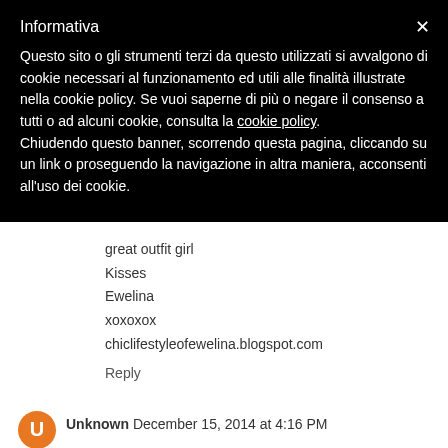Informativa
Questo sito o gli strumenti terzi da questo utilizzati si avvalgono di cookie necessari al funzionamento ed utili alle finalità illustrate nella cookie policy. Se vuoi saperne di più o negare il consenso a tutti o ad alcuni cookie, consulta la cookie policy. Chiudendo questo banner, scorrendo questa pagina, cliccando su un link o proseguendo la navigazione in altra maniera, acconsenti all'uso dei cookie.
great outfit girl
Kisses
Ewelina
xoxoxox
chiclifestyleofewelina.blogspot.com
Reply
Unknown December 15, 2014 at 4:16 PM